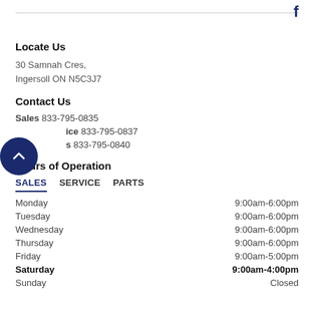Locate Us
30 Samnah Cres,
Ingersoll ON N5C3J7
Contact Us
Sales 833-795-0835
Service 833-795-0837
Parts 833-795-0840
Hours of Operation
| Day | Hours |
| --- | --- |
| Monday | 9:00am-6:00pm |
| Tuesday | 9:00am-6:00pm |
| Wednesday | 9:00am-6:00pm |
| Thursday | 9:00am-6:00pm |
| Friday | 9:00am-5:00pm |
| Saturday | 9:00am-4:00pm |
| Sunday | Closed |